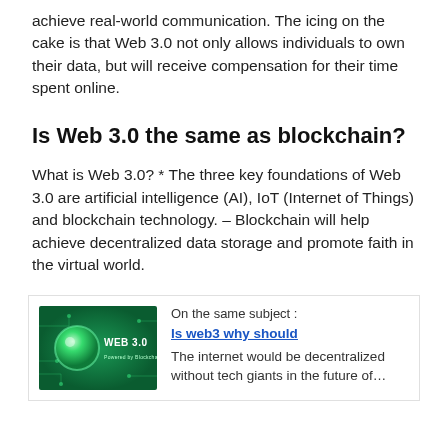achieve real-world communication. The icing on the cake is that Web 3.0 not only allows individuals to own their data, but will receive compensation for their time spent online.
Is Web 3.0 the same as blockchain?
What is Web 3.0? * The three key foundations of Web 3.0 are artificial intelligence (AI), IoT (Internet of Things) and blockchain technology. – Blockchain will help achieve decentralized data storage and promote faith in the virtual world.
[Figure (illustration): Web 3.0 themed image with a glowing green orb and circuit patterns with text 'WEB 3.0']
On the same subject :
Is web3 why should
The internet would be decentralized without tech giants in the future of…